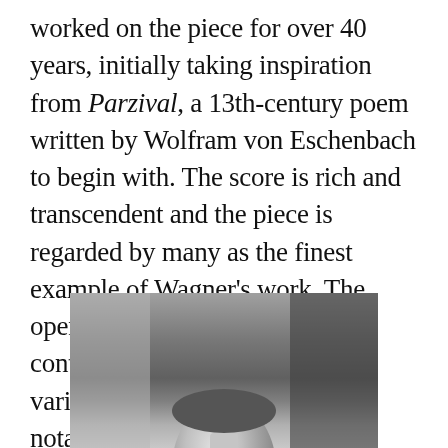worked on the piece for over 40 years, initially taking inspiration from Parzival, a 13th-century poem written by Wolfram von Eschenbach to begin with. The score is rich and transcendent and the piece is regarded by many as the finest example of Wagner's work. The opera was both influential and controversial, garnering wildly varied opinions from numerous notable figures such as Jean Sibelius, Mark Twain, Igor Stravinsky, Gustav Mahler and many others.
[Figure (photo): Black and white photograph of a person, cropped showing the top of a head/portrait, partially visible at the bottom of the page.]